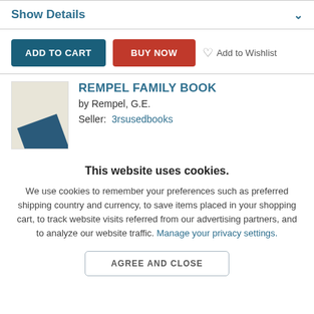Show Details
ADD TO CART  BUY NOW  Add to Wishlist
[Figure (photo): Book cover thumbnail showing a dark blue book partially visible against a beige background]
REMPEL FAMILY BOOK
by Rempel, G.E.
Seller: 3rsusedbooks
This website uses cookies.
We use cookies to remember your preferences such as preferred shipping country and currency, to save items placed in your shopping cart, to track website visits referred from our advertising partners, and to analyze our website traffic. Manage your privacy settings.
AGREE AND CLOSE